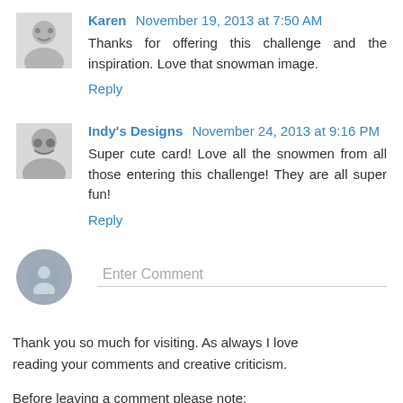Karen  November 19, 2013 at 7:50 AM
Thanks for offering this challenge and the inspiration. Love that snowman image.
Reply
Indy's Designs  November 24, 2013 at 9:16 PM
Super cute card! Love all the snowmen from all those entering this challenge! They are all super fun!
Reply
[Figure (other): Enter Comment input field with generic user avatar icon]
Thank you so much for visiting. As always I love reading your comments and creative criticism.
Before leaving a comment please note:
This is a public blog, meaning any comments left...